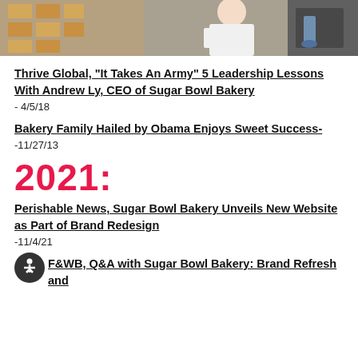[Figure (photo): Banner photo showing people in a bakery/food production environment, wearing white coats]
Thrive Global, "It Takes An Army" 5 Leadership Lessons With Andrew Ly, CEO of Sugar Bowl Bakery
- 4/5/18
Bakery Family Hailed by Obama Enjoys Sweet Success-
-11/27/13
2021:
Perishable News, Sugar Bowl Bakery Unveils New Website as Part of Brand Redesign
-11/4/21
F&WB, Q&A with Sugar Bowl Bakery: Brand Refresh and